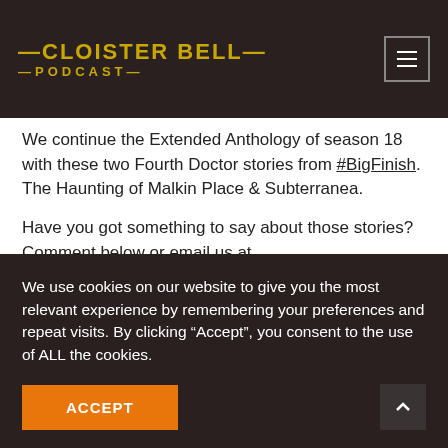CLOISTER BELL PODCAST
We continue the Extended Anthology of season 18 with these two Fourth Doctor stories from #BigFinish. The Haunting of Malkin Place & Subterranea.
Have you got something to say about those stories? Comment below or email us at feedback@cloisterbellpodcast.com.  2 [images]
Twitter  · 4 likes
We use cookies on our website to give you the most relevant experience by remembering your preferences and repeat visits. By clicking “Accept”, you consent to the use of ALL the cookies.
ACCEPT